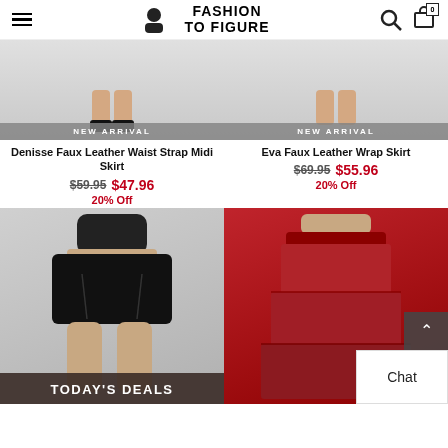FASHION TO FIGURE
[Figure (photo): Product photo of Denisse Faux Leather Waist Strap Midi Skirt with NEW ARRIVAL badge]
Denisse Faux Leather Waist Strap Midi Skirt
$59.95  $47.96
20% Off
[Figure (photo): Product photo of Eva Faux Leather Wrap Skirt with NEW ARRIVAL badge]
Eva Faux Leather Wrap Skirt
$69.95  $55.96
20% Off
[Figure (photo): Model wearing black ruched mini skirt]
[Figure (photo): Model wearing red tiered maxi skirt]
TODAY'S DEALS